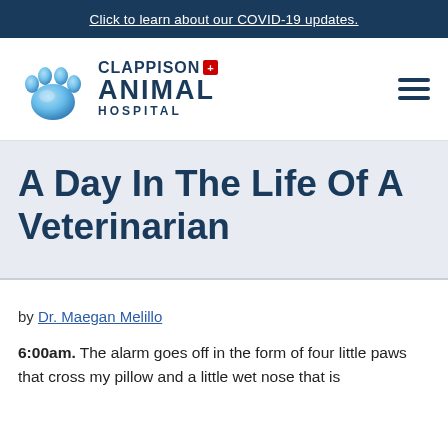Click to learn about our COVID-19 updates.
[Figure (logo): Clappison Animal Hospital logo with blue paw print and text]
A Day In The Life Of A Veterinarian
by Dr. Maegan Melillo
6:00am. The alarm goes off in the form of four little paws that cross my pillow and a little wet nose that is